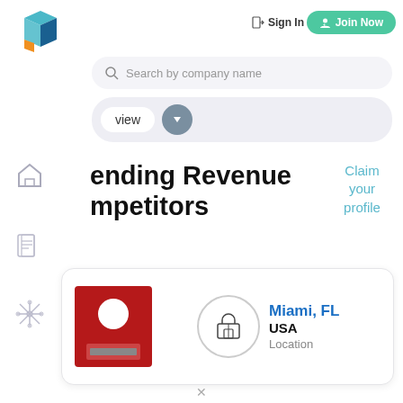[Figure (logo): Colorful geometric 3D cube logo in teal/blue with orange accent]
Sign In
Join Now
Search by company name
view
ending Revenue Competitors
Claim your profile
[Figure (logo): Red square company logo with ruler/measurement icon]
[Figure (infographic): Circle icon with building/home symbol]
Miami, FL USA Location